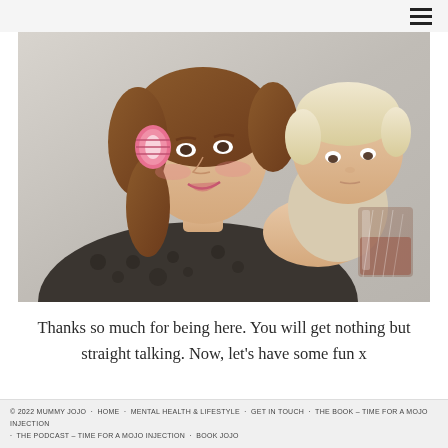≡ (hamburger menu icon)
[Figure (photo): A woman with a pink hair roller in her auburn hair, wearing a leopard print top, holding a young blonde toddler who is drinking from a glass tumbler. The photo is taken indoors against a light background.]
Thanks so much for being here. You will get nothing but straight talking. Now, let's have some fun x
© 2022 MUMMY JOJO · HOME · MENTAL HEALTH & LIFESTYLE · GET IN TOUCH · THE BOOK – TIME FOR A MOJO INJECTION · THE PODCAST – TIME FOR A MOJO INJECTION · BOOK JOJO